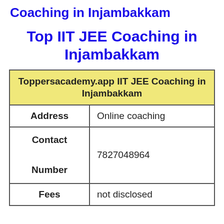Coaching in Injambakkam
Top IIT JEE Coaching in Injambakkam
| Toppersacademy.app IIT JEE Coaching in Injambakkam |
| --- |
| Address | Online coaching |
| Contact

Number | 7827048964 |
| Fees | not disclosed |